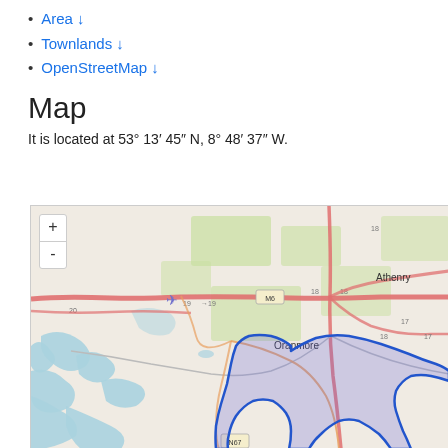Area ↓
Townlands ↓
OpenStreetMap ↓
Map
It is located at 53° 13′ 45″ N, 8° 48′ 37″ W.
[Figure (map): OpenStreetMap showing area near Oranmore and Athenry in County Galway, Ireland. A blue outlined region with purple/blue fill is shown in the lower-right portion of the map. Roads including M6, N67, and numbered routes are visible. The map includes zoom +/- controls in the upper left.]